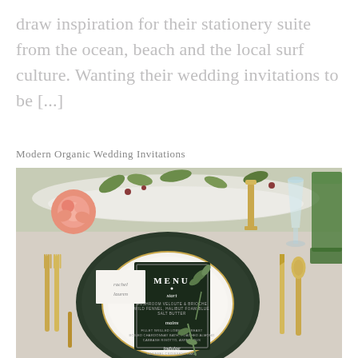draw inspiration for their stationery suite from the ocean, beach and the local surf culture. Wanting their wedding invitations to be [...]
Modern Organic Wedding Invitations
[Figure (photo): Elegant wedding table setting with a dark charger plate, white dinner plate, gold cutlery, a dark green menu card with botanical illustrations reading 'MENU', a pink rose, greenery, crystal and green glassware on a linen tablecloth.]